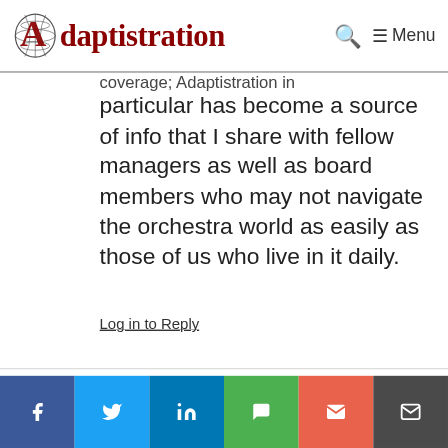Adaptistration — Menu
coverage; Adaptistration in particular has become a source of info that I share with fellow managers as well as board members who may not navigate the orchestra world as easily as those of us who live in it daily.
Log in to Reply